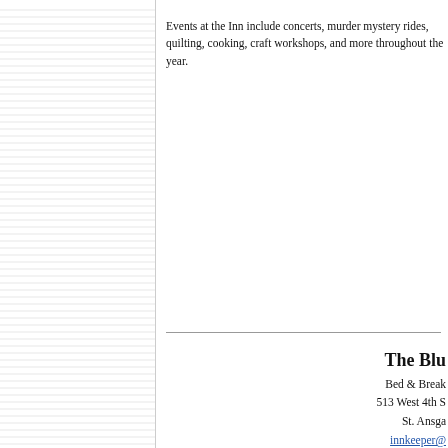Events at the Inn include concerts, murder mystery rides, quilting, cooking, craft workshops, and more throughout the year.
The Blu
Bed & Break
513 West 4th S
St. Ansga
innkeeper@